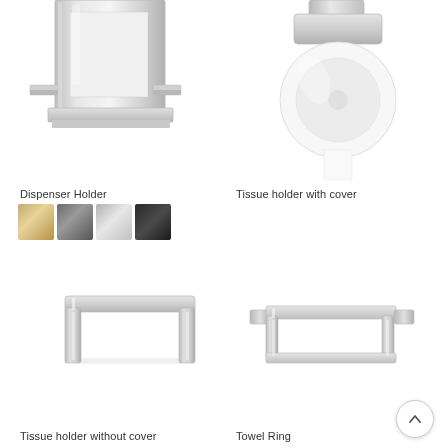[Figure (photo): Chrome square dispenser holder – bathroom accessory, chrome finish, square boxy design mounted on wall bracket]
[Figure (photo): Chrome tissue holder with cover – round toilet paper roll held under a chrome cover bracket]
Dispenser Holder
[Figure (infographic): Four color swatches: gold/brushed gold, gunmetal/dark chrome, polished chrome, matte black]
Tissue holder with cover
[Figure (photo): Chrome tissue holder without cover – open rectangular chrome ring/bracket for toilet paper]
[Figure (photo): Chrome towel ring – rectangular open chrome ring mounted on wall, smaller profile than tissue holder]
Tissue holder without cover
Towel Ring